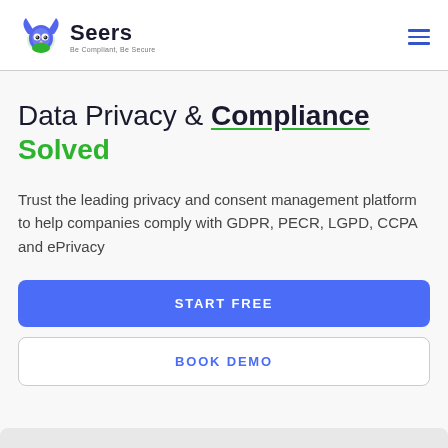[Figure (logo): Seers owl logo with blue and green colors, text 'Seers' and tagline 'Be Compliant, Be Secure']
Data Privacy & Compliance Solved
Trust the leading privacy and consent management platform to help companies comply with GDPR, PECR, LGPD, CCPA and ePrivacy
START FREE
BOOK DEMO